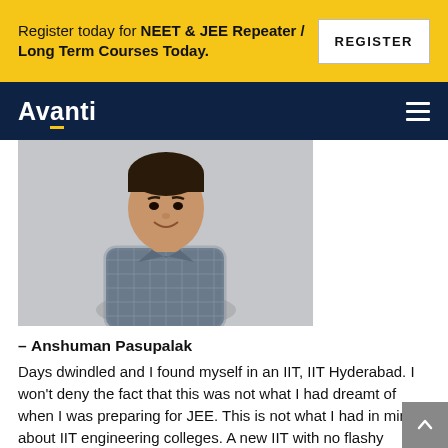Register today for NEET & JEE Repeater / Long Term Courses Today.  REGISTER
Avanti
[Figure (photo): Portrait photo of a young man in a checked shirt, smiling, against a light grey background.]
– Anshuman Pasupalak
Days dwindled and I found myself in an IIT, IIT Hyderabad. I won't deny the fact that this was not what I had dreamt of when I was preparing for JEE. This is not what I had in mind about IIT engineering colleges. A new IIT with no flashy campus of its own and bare minimum facilities to sustain. I wondered why my mentor